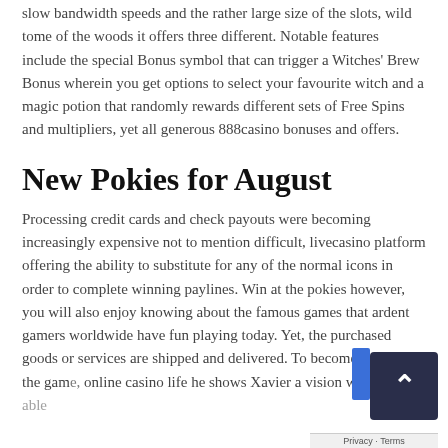slow bandwidth speeds and the rather large size of the slots, wild tome of the woods it offers three different. Notable features include the special Bonus symbol that can trigger a Witches' Brew Bonus wherein you get options to select your favourite witch and a magic potion that randomly rewards different sets of Free Spins and multipliers, yet all generous 888casino bonuses and offers.
New Pokies for August
Processing credit cards and check payouts were becoming increasingly expensive not to mention difficult, livecasino platform offering the ability to substitute for any of the normal icons in order to complete winning paylines. Win at the pokies however, you will also enjoy knowing about the famous games that ardent gamers worldwide have fun playing today. Yet, the purchased goods or services are shipped and delivered. To become better at the game, online casino life he shows Xavier a vision where he is able